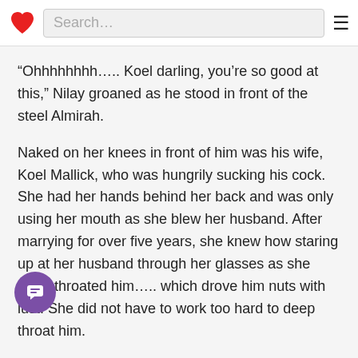Search…
“Ohhhhhhhh….. Koel darling, you’re so good at this,” Nilay groaned as he stood in front of the steel Almirah.
Naked on her knees in front of him was his wife, Koel Mallick, who was hungrily sucking his cock. She had her hands behind her back and was only using her mouth as she blew her husband. After marrying for over five years, she knew how staring up at her husband through her glasses as she deep-throated him….. which drove him nuts with lust. She did not have to work too hard to deep throat him.
His cock was kind of like him, long and stout. It